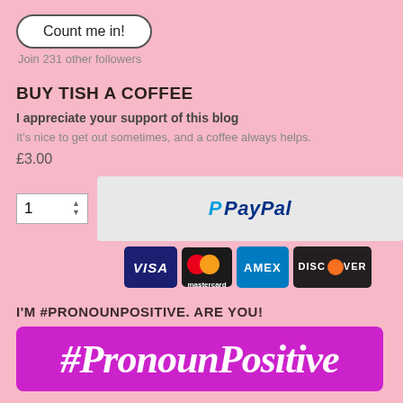Count me in!
Join 231 other followers
BUY TISH A COFFEE
I appreciate your support of this blog
It's nice to get out sometimes, and a coffee always helps.
£3.00
[Figure (screenshot): PayPal payment button with quantity selector showing 1, and payment logos for VISA, Mastercard, AMEX, Discover]
I'M #PRONOUNPOSITIVE. ARE YOU!
[Figure (illustration): Purple banner with white bold italic text reading #PronounPositive]